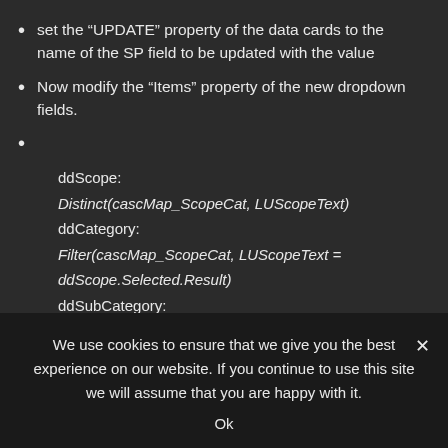set the “UPDATE” property of the data cards to the name of the SP field to be updated with the value
Now modify the “Items” property of the new dropdown fields.
ddScope:
Distinct(cascMap_ScopeCat, LUScopeText)
ddCategory:
Filter(cascMap_ScopeCat, LUScopeText = ddScope.Selected.Result)
ddSubCategory:
We use cookies to ensure that we give you the best experience on our website. If you continue to use this site we will assume that you are happy with it.
Ok